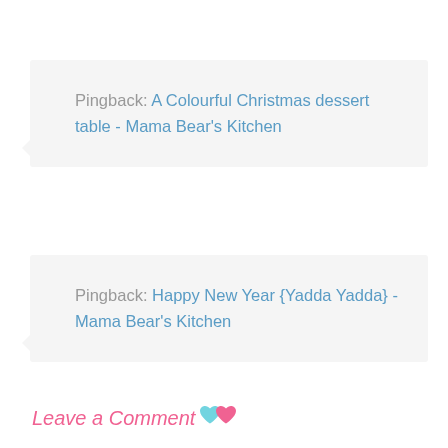Pingback: A Colourful Christmas dessert table - Mama Bear's Kitchen
Pingback: Happy New Year {Yadda Yadda} - Mama Bear's Kitchen
Leave a Comment